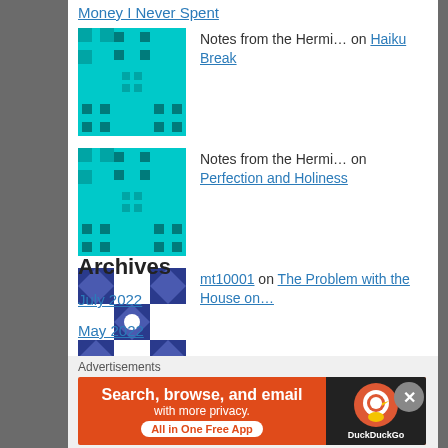Money I Never Spent
Notes from the Hermi… on Haiku Break
Notes from the Hermi… on Perfection and Holiness
mt10001 on The Problem with the House on…
jcublehman on The Problem with the House on…
Archives
July 2022
May 2022
Advertisements
[Figure (infographic): DuckDuckGo advertisement banner: Search, browse, and email with more privacy. All in One Free App]